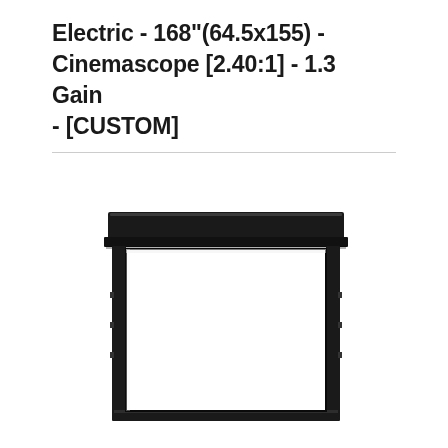Electric - 168"(64.5x155) - Cinemascope [2.40:1] - 1.3 Gain - [CUSTOM]
[Figure (photo): Electric projection screen with black housing/casing at top and a wide rectangular white screen area with black border frame, shown deployed in cinemascope aspect ratio]